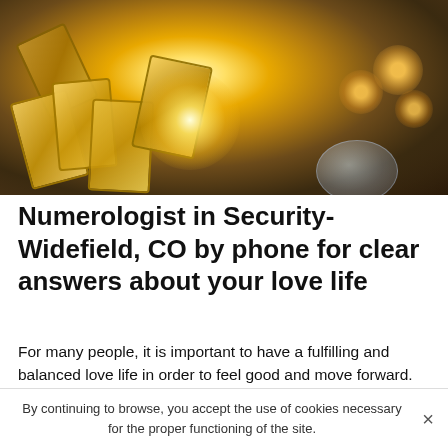[Figure (photo): Overhead view of tarot cards spread on a dark wooden table with a bright golden glow/light in the center, and lit candles with crystal holders on the right side. A hand is touching the glowing center card.]
Numerologist in Security-Widefield, CO by phone for clear answers about your love life
For many people, it is important to have a fulfilling and balanced love life in order to feel good and move forward. But in fact, it is not that easy to find true love and especially not to have doubts about the person with whom
By continuing to browse, you accept the use of cookies necessary for the proper functioning of the site.